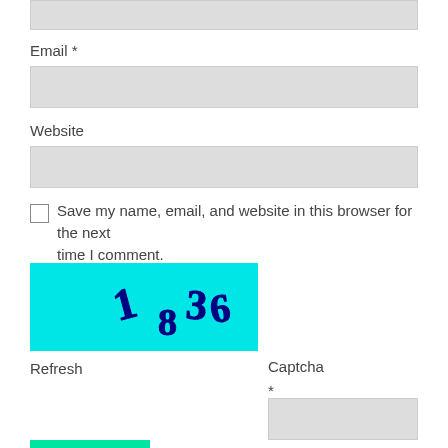[Figure (screenshot): Top portion of a web comment form showing a truncated input field at the top]
Email *
[Figure (screenshot): Email input text field (gray background)]
Website
[Figure (screenshot): Website input text field (gray background)]
[Figure (screenshot): Checkbox (unchecked)]
Save my name, email, and website in this browser for the next time I comment.
[Figure (other): CAPTCHA image with cyan background showing distorted numbers '1 836']
Refresh
Captcha
*
[Figure (screenshot): Captcha answer input text field (gray background)]
[Figure (screenshot): Green submit button (partially visible at bottom)]